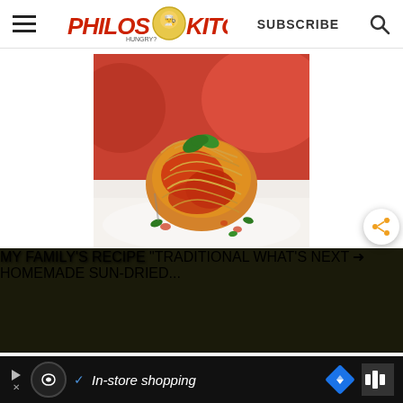Philos Kitchen — SUBSCRIBE
[Figure (photo): A nest of spaghetti with tomato sauce and fresh basil leaves on a white plate, with a red tomato in the background.]
[Figure (screenshot): Video thumbnail showing text 'MY FAMILY'S RECIPE' and '"TRADITIONAL' over a food background with a side panel showing 'WHAT'S NEXT → HOMEMADE SUN-DRIED...']
[Figure (infographic): Ad banner at bottom with Payback logo, checkmark, 'In-store shopping' text, and navigation arrow icon.]